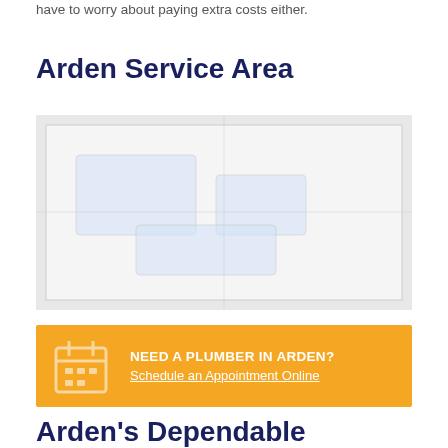have to worry about paying extra costs either.
Arden Service Area
[Figure (map): Map showing Arden service area]
NEED A PLUMBER IN ARDEN? Schedule an Appointment Online
Arden's Dependable Plumbers